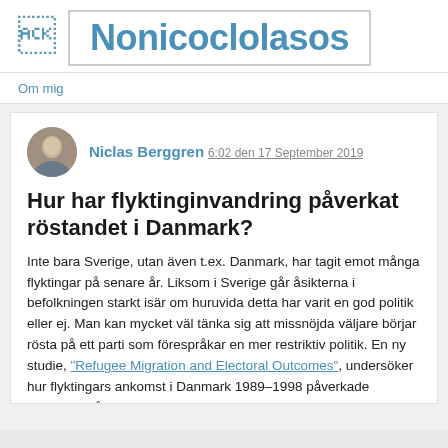Nonicoclolasos
Om mig
Niclas Berggren 6:02 den 17 September 2019
Hur har flyktinginvandring påverkat röstandet i Danmark?
Inte bara Sverige, utan även t.ex. Danmark, har tagit emot många flyktingar på senare år. Liksom i Sverige går åsikterna i befolkningen starkt isär om huruvida detta har varit en god politik eller ej. Man kan mycket väl tänka sig att missnöjda väljare börjar rösta på ett parti som förespråkar en mer restriktiv politik. En ny studie, "Refugee Migration and Electoral Outcomes", undersöker hur flyktingars ankomst i Danmark 1989–1998 påverkade röstandet på